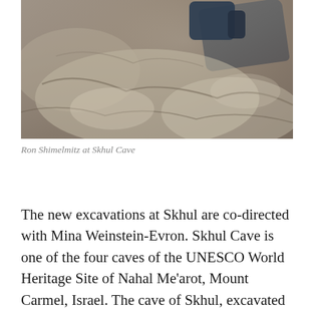[Figure (photo): Photograph of Ron Shimelmitz at Skhul Cave, showing a person lying on rocky limestone cave surface, wearing dark clothing, viewed from above.]
Ron Shimelmitz at Skhul Cave
The new excavations at Skhul are co-directed with Mina Weinstein-Evron. Skhul Cave is one of the four caves of the UNESCO World Heritage Site of Nahal Me'arot, Mount Carmel, Israel. The cave of Skhul, excavated by McCown between 1931 and 1932, has long constituted a central site in our reconstruction of early Homo sapiens behavioral patterns and dispersal during the late Pleistocene. The site is also of great significance